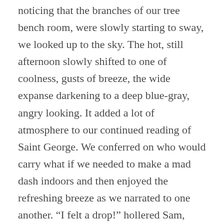noticing that the branches of our tree bench room, were slowly starting to sway, we looked up to the sky. The hot, still afternoon slowly shifted to one of coolness, gusts of breeze, the wide expanse darkening to a deep blue-gray, angry looking. It added a lot of atmosphere to our continued reading of Saint George. We conferred on who would carry what if we needed to make a mad dash indoors and then enjoyed the refreshing breeze as we narrated to one another. “I felt a drop!” hollered Sam, various children dropping from their perches in the tree, like monkeys. Tin jar of colored pencils picked up, backpack of journals grabbed, and everyone laughing, giggling and scrambling for the door. The skies opened up as I reached the last step of our deck, Idlewild, and we shut it tight, we gazed at the deluge.